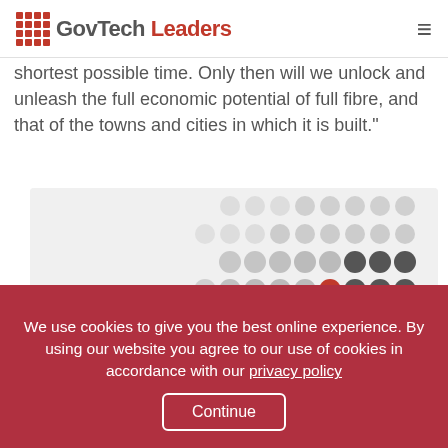GovTech Leaders
shortest possible time. Only then will we unlock and unleash the full economic potential of full fibre, and that of the towns and cities in which it is built."
[Figure (infographic): Promotional banner with dot pattern graphic and text: Get the latest analysis and reports delivered to your inbox daily]
We use cookies to give you the best online experience. By using our website you agree to our use of cookies in accordance with our privacy policy Continue